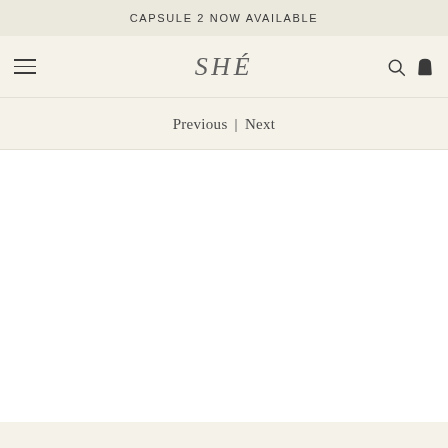CAPSULE 2 NOW AVAILABLE
SHÉ
Previous | Next